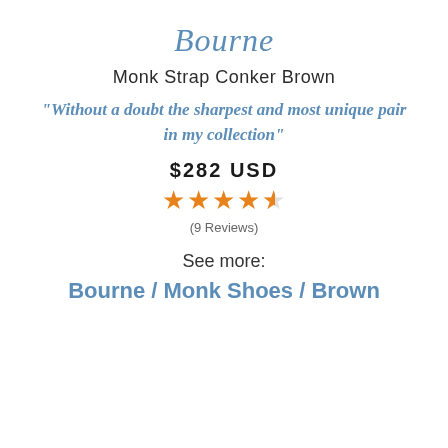Bourne
Monk Strap Conker Brown
"Without a doubt the sharpest and most unique pair in my collection"
$282 USD
[Figure (other): 4.5 star rating displayed as orange stars]
(9 Reviews)
See more:
Bourne / Monk Shoes / Brown